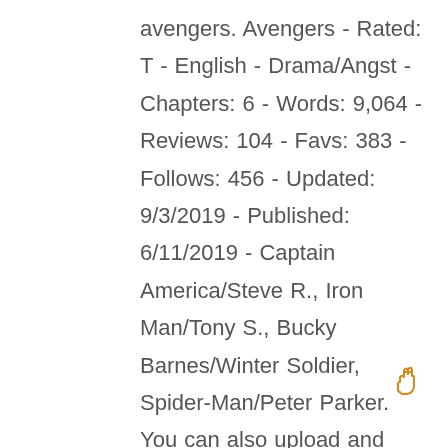avengers. Avengers - Rated: T - English - Drama/Angst - Chapters: 6 - Words: 9,064 - Reviews: 104 - Favs: 383 - Follows: 456 - Updated: 9/3/2019 - Published: 6/11/2019 - Captain America/Steve R., Iron Man/Tony S., Bucky Barnes/Winter Soldier, Spider-Man/Peter Parker. You can also upload and share your favorite Captain America Mjolnir wallpapers. Tons of awesome Captain America Mjolnir wallpapers to download for free. You can also upload and share your favorite Captain America Endgame wallpapers. Captain america mjolnir wallpapers. Wallpaper hd movies 4k, and mobile phones 257 People on pinterest photos
[Figure (illustration): A hand cursor / peace sign emoji icon in orange/yellow color in the bottom right corner]